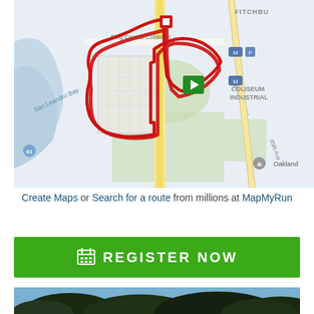[Figure (map): A Google Maps screenshot showing a running route near Ring Central Coliseum / Oakland Coliseum area, near San Leandro Bay. A red route line traces a roughly rectangular loop around a parking/coliseum area. There is a red square start/stop marker, and a green play button marker. Transit icons visible. Roads shown include Hegenberger Rd and 85th Ave. Area labels include FITCHBU(RG), COLISEUM INDUSTRIAL, Oakland, San Leandro Bay.]
Create Maps or Search for a route from millions at MapMyRun
[Figure (other): A green button with a calendar icon and the text 'Register Now' in white bold uppercase letters.]
[Figure (photo): Bottom portion of a photo showing trees with dark foliage against a blue sky.]